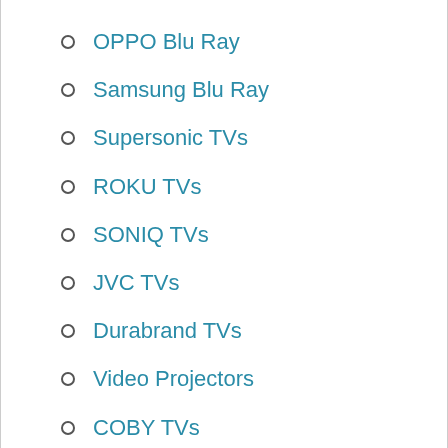OPPO Blu Ray
Samsung Blu Ray
Supersonic TVs
ROKU TVs
SONIQ TVs
JVC TVs
Durabrand TVs
Video Projectors
COBY TVs
oCosmo TVs
Mitsubishi TVs